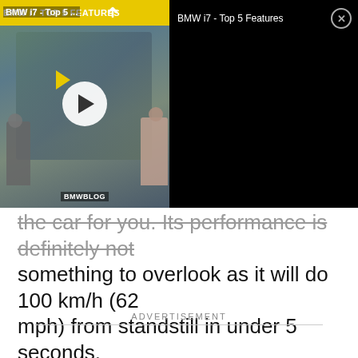[Figure (screenshot): Embedded video player showing BMW i7 Top 5 Features. Left side shows video thumbnail with two people standing next to a BMW i7 car, a yellow top bar, a circular white play button, and BMWBLOG watermark. Right side shows black panel with title 'BMW i7 - Top 5 Features' and a close button (X).]
the car for you. Its performance is definitely not something to overlook as it will do 100 km/h (62 mph) from standstill in under 5 seconds.
ADVERTISEMENT